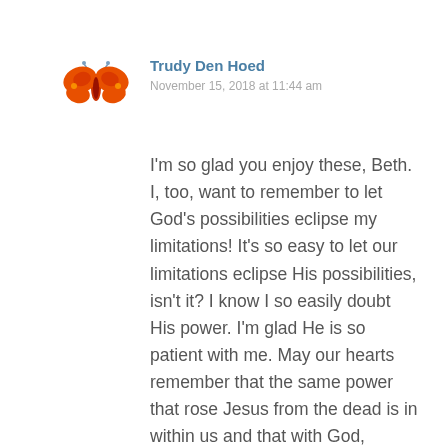[Figure (illustration): Orange butterfly emoji/illustration]
Trudy Den Hoed
November 15, 2018 at 11:44 am
I'm so glad you enjoy these, Beth. I, too, want to remember to let God's possibilities eclipse my limitations! It's so easy to let our limitations eclipse His possibilities, isn't it? I know I so easily doubt His power. I'm glad He is so patient with me. May our hearts remember that the same power that rose Jesus from the dead is in within us and that with God, nothing is impossible!